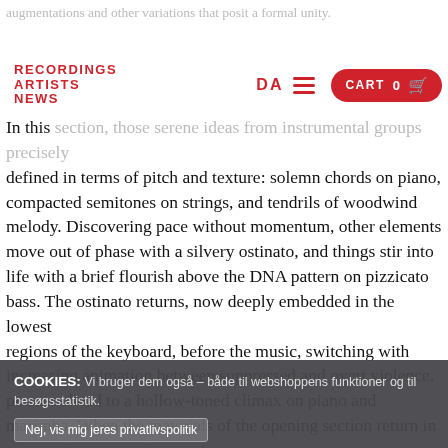augmentations and other variations that posit a formal unity.
RECORDINGS
ARTISTS
NEWS
DA
In this section, those serene ideas from instrumental groups precisely defined in terms of pitch and texture: solemn chords on piano, compacted semitones on strings, and tendrils of woodwind melody. Discovering pace without momentum, other elements move out of phase with a silvery ostinato, and things stir into life with a brief flourish above the DNA pattern on pizzicato bass. The ostinato returns, now deeply embedded in the lowest regions of the keyboard, before the music, switching with increasing animation between suppressed and overt violence, presses ahead to a hollow-toned climax on piano and marimba. When the materials of the opening section return in...  ...strings are no longer clustered
COOKIES: Vi bruger dem også – både til webshoppens funktioner og til besøgsstatistik.
Nej, vis mig jeres privatlivspolitik
OK
DECLINE
BUY
ALBUM
Kata (200